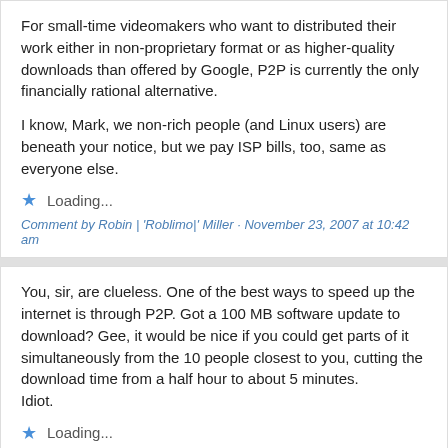For small-time videomakers who want to distributed their work either in non-proprietary format or as higher-quality downloads than offered by Google, P2P is currently the only financially rational alternative.

I know, Mark, we non-rich people (and Linux users) are beneath your notice, but we pay ISP bills, too, same as everyone else.
Loading...
Comment by Robin | 'Roblimo|' Miller · November 23, 2007 at 10:42 am
You, sir, are clueless. One of the best ways to speed up the internet is through P2P. Got a 100 MB software update to download? Gee, it would be nice if you could get parts of it simultaneously from the 10 people closest to you, cutting the download time from a half hour to about 5 minutes.
Idiot.
Loading...